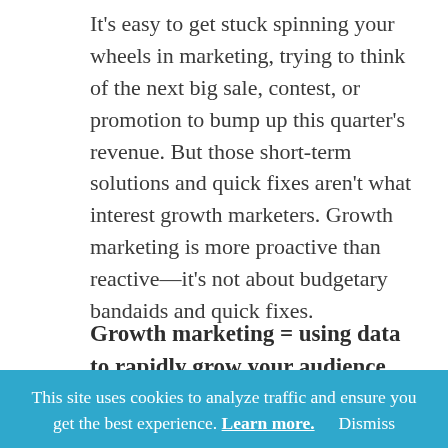It's easy to get stuck spinning your wheels in marketing, trying to think of the next big sale, contest, or promotion to bump up this quarter's revenue. But those short-term solutions and quick fixes aren't what interest growth marketers. Growth marketing is more proactive than reactive—it's not about budgetary bandaids and quick fixes.
Growth marketing = using data to rapidly grow your audience (and keep
This site uses cookies to analyze traffic and ensure you get the best experience. Learn more. Dismiss